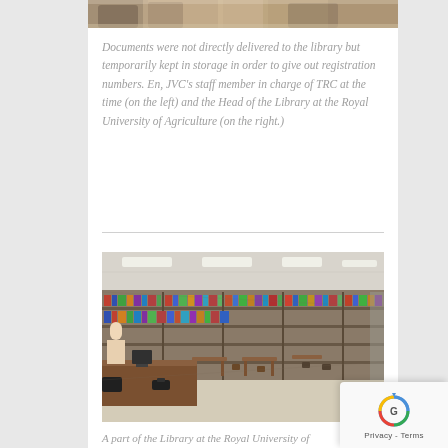[Figure (photo): Top portion of a photo showing two people in a library/storage setting, cropped to just the top strip]
Documents were not directly delivered to the library but temporarily kept in storage in order to give out registration numbers. En, JVC's staff member in charge of TRC at the time (on the left) and the Head of the Library at the Royal University of Agriculture (on the right.)
[Figure (photo): Interior of a library showing bookshelves lined with books along the walls, study tables and chairs, fluorescent lighting on the ceiling, and a wooden desk in the foreground. A part of the Library at the Royal University of]
A part of the Library at the Royal University of